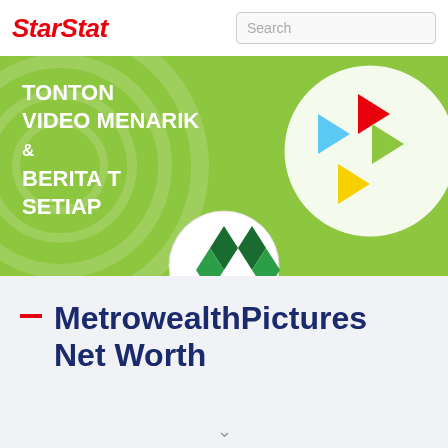StarStat
[Figure (illustration): Banner advertisement with green background showing text 'TONTON VIDEO MENARIK & BERITA T... SETIAP...' with Powertv logo circle overlay and colorful play-button logo on the right side]
MetrowealthPictures Net Worth